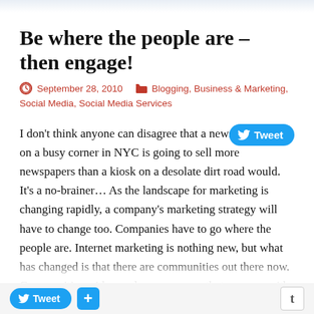Be where the people are – then engage!
September 28, 2010   Blogging, Business & Marketing, Social Media, Social Media Services
I don't think anyone can disagree that a newspaper stand on a busy corner in NYC is going to sell more newspapers than a kiosk on a desolate dirt road would.  It's a no-brainer…  As the landscape for marketing is changing rapidly, a company's marketing strategy will have to change too.  Companies have to go where the people are.  Internet marketing is nothing new, but what has changed is that there are communities out there now.  Communities with people, consumers, that engages with each other.  They share.  These communities are about engaging and sharing but what many companies are forgetting is that social media plays its most important role…